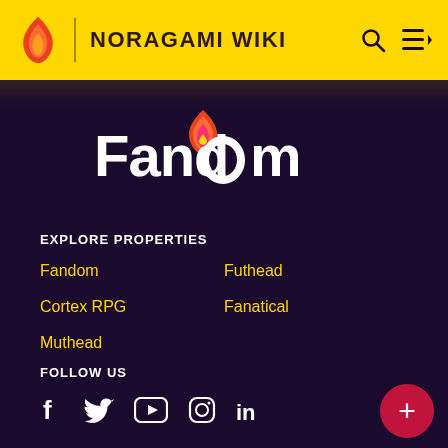NORAGAMI WIKI
[Figure (logo): Fandom logo with flame icon and wordmark in white on dark purple background]
EXPLORE PROPERTIES
Fandom
Futhead
Cortex RPG
Fanatical
Muthead
FOLLOW US
[Figure (infographic): Social media icons: Facebook, Twitter, YouTube, Instagram, LinkedIn]